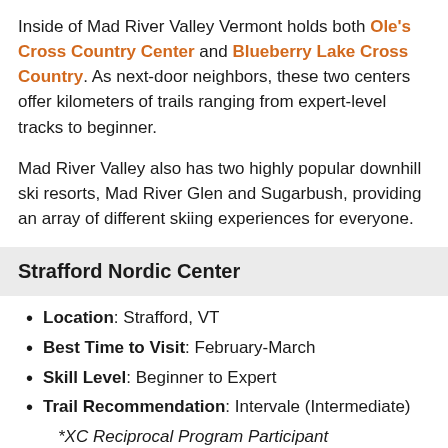Inside of Mad River Valley Vermont holds both Ole's Cross Country Center and Blueberry Lake Cross Country. As next-door neighbors, these two centers offer kilometers of trails ranging from expert-level tracks to beginner.
Mad River Valley also has two highly popular downhill ski resorts, Mad River Glen and Sugarbush, providing an array of different skiing experiences for everyone.
Strafford Nordic Center
Location: Strafford, VT
Best Time to Visit: February-March
Skill Level: Beginner to Expert
Trail Recommendation: Intervale (Intermediate)
*XC Reciprocal Program Participant
Strafford Nordic Center brings fun for all with a diverse range of classes for families, beginners, racers, and athletes all winter long. Self-proclaimed as "The Most Convenient Nordic Ski Area in Vermont," Strafford is only a 2.5-hour